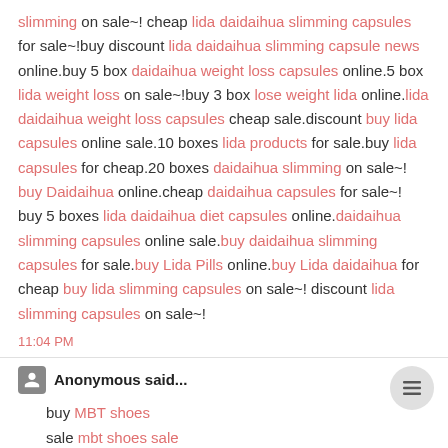slimming on sale~! cheap lida daidaihua slimming capsules for sale~!buy discount lida daidaihua slimming capsule news online.buy 5 box daidaihua weight loss capsules online.5 box lida weight loss on sale~!buy 3 box lose weight lida online.lida daidaihua weight loss capsules cheap sale.discount buy lida capsules online sale.10 boxes lida products for sale.buy lida capsules for cheap.20 boxes daidaihua slimming on sale~! buy Daidaihua online.cheap daidaihua capsules for sale~! buy 5 boxes lida daidaihua diet capsules online.daidaihua slimming capsules online sale.buy daidaihua slimming capsules for sale.buy Lida Pills online.buy Lida daidaihua for cheap buy lida slimming capsules on sale~! discount lida slimming capsules on sale~!
11:04 PM
Anonymous said...
buy MBT shoes
sale mbt shoes sale
online cheap mbt shoes
free shippingdiscount mbt shoes